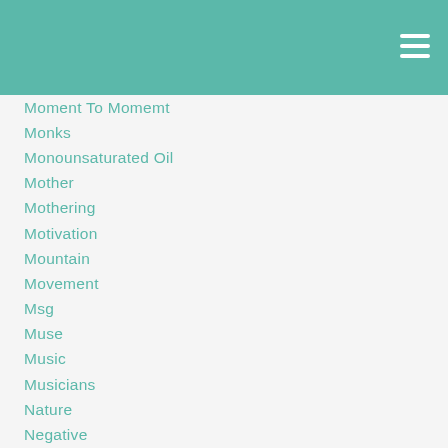Minerals
Mini Stroke
Mollusks
Moment To Momemt
Monks
Monounsaturated Oil
Mother
Mothering
Motivation
Mountain
Movement
Msg
Muse
Music
Musicians
Nature
Negative
Negative Domination
Negative Living
Neutralizing Polarities
Never-ending Love